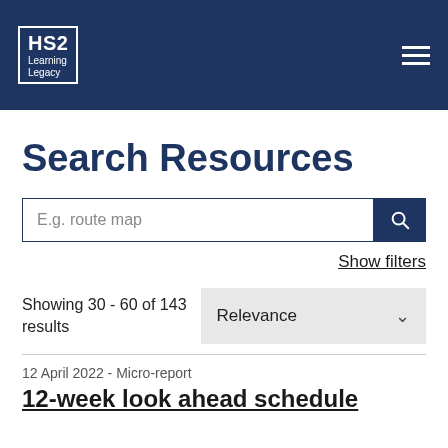HS2 Learning Legacy
Search Resources
E.g. route map
Show filters
Showing 30 - 60 of 143 results
Relevance
12 April 2022 - Micro-report
12-week look ahead schedule